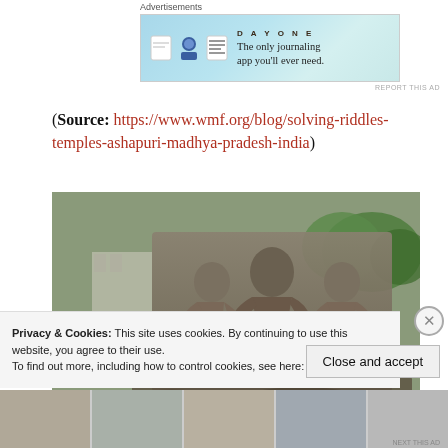[Figure (other): Advertisement banner for Day One journaling app with light blue starry background, app icons, and tagline 'The only journaling app you'll ever need.']
(Source: https://www.wmf.org/blog/solving-riddles-temples-ashapuri-madhya-pradesh-india)
[Figure (photo): Stone temple sculpture relief showing carved figures at Ashapuri temples, Madhya Pradesh, India]
Privacy & Cookies: This site uses cookies. By continuing to use this website, you agree to their use.
To find out more, including how to control cookies, see here: Cookie Policy